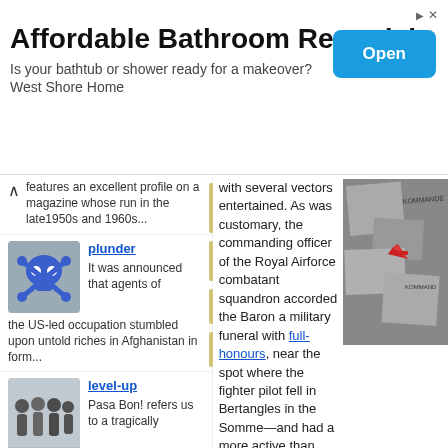[Figure (screenshot): Advertisement banner for Affordable Bathroom Remodel by West Shore Home with an Open button]
features an excellent profile on a magazine whose run in the late1950s and 1960s...
[Figure (photo): Skull and crossbones illustration on dark background]
plunder
It was announced that agents of the US-led occupation stumbled upon untold riches in Afghanistan in form...
[Figure (photo): Group of people standing in a gallery or room]
level-up
Pasa Bon! refers us to a tragically
with several vectors entertained. As was customary, the commanding officer of the Royal Airforce combatant squandron accorded the Baron a military funeral with full-honours, near the spot where the fighter pilot fell in Bertangles in the Somme—and had a more active than usual career in death, disinterred and reburied in the German b... brought to Berlin by his brother Lothar (a site th... on the boundary of the Soviet zone of occupati...
[Figure (photo): Damaged stone memorial or grave marker with red airplane model on top, text partially visible]